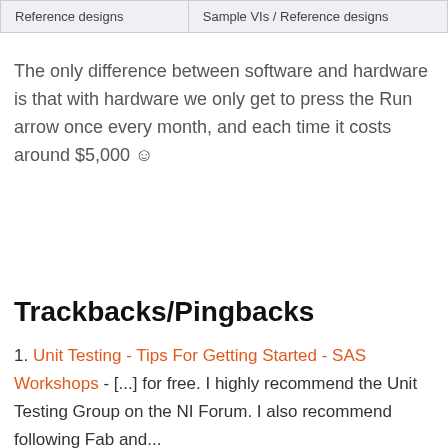| Reference designs | Sample VIs / Reference designs |
| --- | --- |
The only difference between software and hardware is that with hardware we only get to press the Run arrow once every month, and each time it costs around $5,000 ☺
Trackbacks/Pingbacks
1. Unit Testing - Tips For Getting Started - SAS Workshops - [...] for free. I highly recommend the Unit Testing Group on the NI Forum. I also recommend following Fab and...